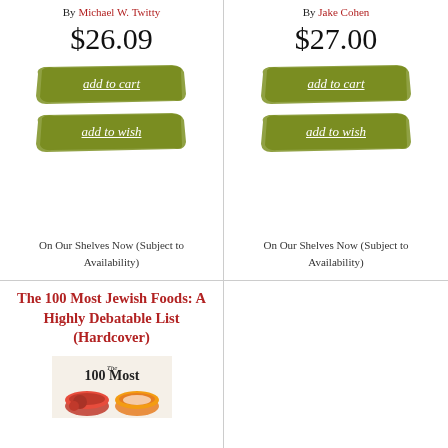By Michael W. Twitty
$26.09
[Figure (other): Green brushstroke button with text 'add to cart']
[Figure (other): Green brushstroke button with text 'add to wish']
On Our Shelves Now (Subject to Availability)
By Jake Cohen
$27.00
[Figure (other): Green brushstroke button with text 'add to cart']
[Figure (other): Green brushstroke button with text 'add to wish']
On Our Shelves Now (Subject to Availability)
The 100 Most Jewish Foods: A Highly Debatable List (Hardcover)
[Figure (photo): Book cover for 'The 100 Most Jewish Foods' showing bowls of food]